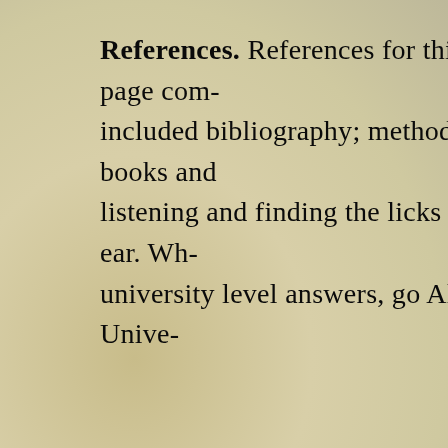References. References for this page com- included bibliography; method books and listening and finding the licks by ear. Wh- university level answers, go Alaska Unive-